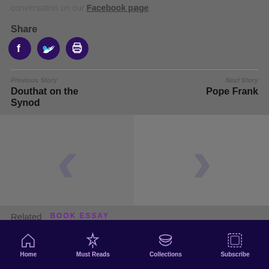conversation on our Facebook page.
Share
[Figure (infographic): Three circular social share icons: Facebook, Twitter, and Print/Email, all dark purple]
Previous Story
Douthat on the Synod
Next Story
Pope Frank
[Figure (photo): Two story thumbnail images side by side, greyed out with watermark arrows]
Related   BOOK ESSAY
Home   Must Reads   Collections   Subscribe